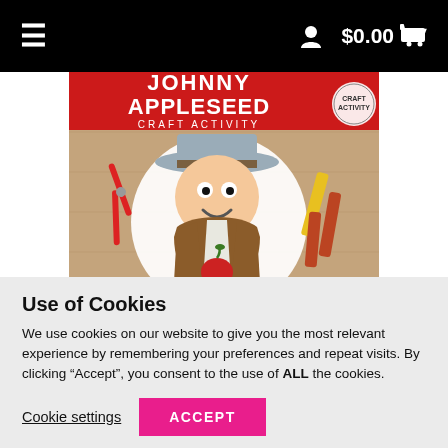$0.00
[Figure (illustration): Johnny Appleseed Craft Activity product cover image showing a cartoon cutout of Johnny Appleseed with a gray hat, smiling face, brown vest, and a red apple, surrounded by red scissors and crayons on a wooden background. Red banner at top reads JOHNNY APPLESEED CRAFT ACTIVITY.]
Use of Cookies
We use cookies on our website to give you the most relevant experience by remembering your preferences and repeat visits. By clicking “Accept”, you consent to the use of ALL the cookies.
Cookie settings
ACCEPT